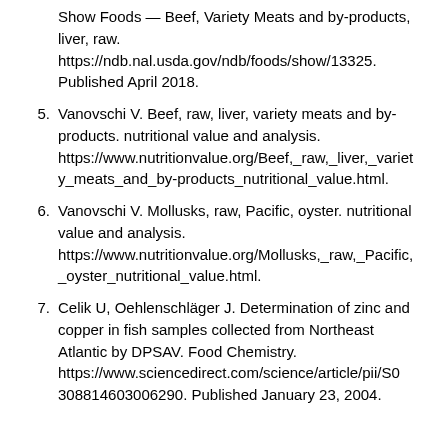Show Foods — Beef, Variety Meats and by-products, liver, raw. https://ndb.nal.usda.gov/ndb/foods/show/13325. Published April 2018.
5. Vanovschi V. Beef, raw, liver, variety meats and by-products. nutritional value and analysis. https://www.nutritionvalue.org/Beef,_raw,_liver,_variety_meats_and_by-products_nutritional_value.html.
6. Vanovschi V. Mollusks, raw, Pacific, oyster. nutritional value and analysis. https://www.nutritionvalue.org/Mollusks,_raw,_Pacific,_oyster_nutritional_value.html.
7. Celik U, Oehlenschläger J. Determination of zinc and copper in fish samples collected from Northeast Atlantic by DPSAV. Food Chemistry. https://www.sciencedirect.com/science/article/pii/S0308814603006290. Published January 23, 2004.